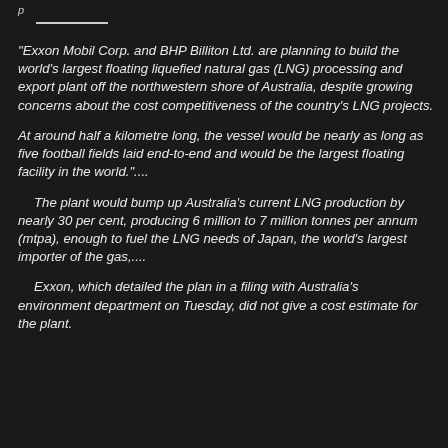p
"Exxon Mobil Corp. and BHP Billiton Ltd. are planning to build the world's largest floating liquefied natural gas (LNG) processing and export plant off the northwestern shore of Australia, despite growing concerns about the cost competitiveness of the country's LNG projects.
At around half a kilometre long, the vessel would be nearly as long as five football fields laid end-to-end and would be the largest floating facility in the world.".....
The plant would bump up Australia's current LNG production by nearly 30 per cent, producing 6 million to 7 million tonnes per annum (mtpa), enough to fuel the LNG needs of Japan, the world's largest importer of the gas,.....
Exxon, which detailed the plan in a filing with Australia's environment department on Tuesday, did not give a cost estimate for the plant.